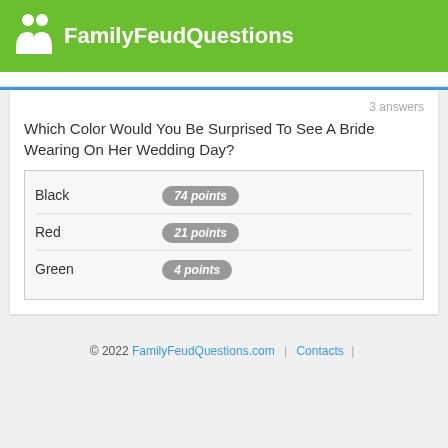FamilyFeudQuestions
3 answers
Which Color Would You Be Surprised To See A Bride Wearing On Her Wedding Day?
| Answer | Points |
| --- | --- |
| Black | 74 points |
| Red | 21 points |
| Green | 4 points |
© 2022 FamilyFeudQuestions.com | Contacts |